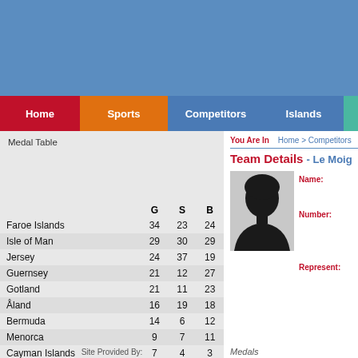[Figure (other): Blue header banner at the top of the web page]
Home | Sports | Competitors | Islands
Medal Table
|  | G | S | B |
| --- | --- | --- | --- |
| Faroe Islands | 34 | 23 | 24 |
| Isle of Man | 29 | 30 | 29 |
| Jersey | 24 | 37 | 19 |
| Guernsey | 21 | 12 | 27 |
| Gotland | 21 | 11 | 23 |
| Åland | 16 | 19 | 18 |
| Bermuda | 14 | 6 | 12 |
| Menorca | 9 | 7 | 11 |
| Cayman Islands | 7 | 4 | 3 |
| Saaremaa | 6 | 9 | 10 |
Site Provided By:
You Are In   Home > Competitors
Team Details - Le Moig
[Figure (photo): Silhouette profile photo placeholder for a competitor]
Name:
Number:
Represent:
Medals